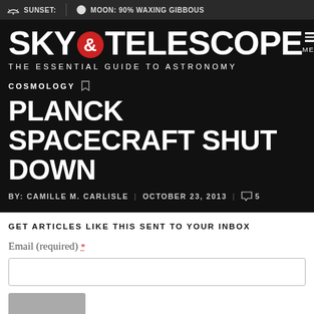SUNSET: | MOON: 90% WAXING GIBBOUS
SKY & TELESCOPE — THE ESSENTIAL GUIDE TO ASTRONOMY
COSMOLOGY
PLANCK SPACECRAFT SHUT DOWN
BY: CAMILLE M. CARLISLE | OCTOBER 23, 2013 | 5
GET ARTICLES LIKE THIS SENT TO YOUR INBOX
Email (required) *